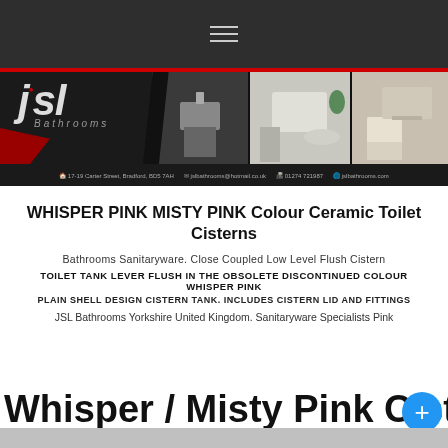Navigation menu (hamburger icon)
[Figure (photo): JSL Bathrooms banner with logo on dark background and bathroom photos on right side, contact details bar at bottom]
WHISPER PINK MISTY PINK Colour Ceramic Toilet Cisterns
Bathrooms Sanitaryware. Close Coupled Low Level Flush Cistern
TOILET TANK LEVER FLUSH IN THE OBSOLETE DISCONTINUED COLOUR WHISPER PINK
PLAIN SHELL DESIGN CISTERN TANK. INCLUDES CISTERN LID AND FITTINGS
JSL Bathrooms Yorkshire United Kingdom. Sanitaryware Specialists Pink
Whisper / Misty Pink Cisterns